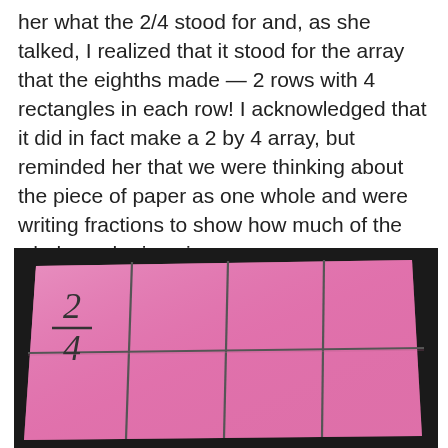her what the 2/4 stood for and, as she talked, I realized that it stood for the array that the eighths made — 2 rows with 4 rectangles in each row! I acknowledged that it did in fact make a 2 by 4 array, but reminded her that we were thinking about the piece of paper as one whole and were writing fractions to show how much of the whole each piece is.
[Figure (photo): Photo of a pink piece of paper folded into a 2x4 grid of 8 rectangles (eighths), placed on a dark background. The top-left rectangle has the fraction 2/4 written on it in pencil.]